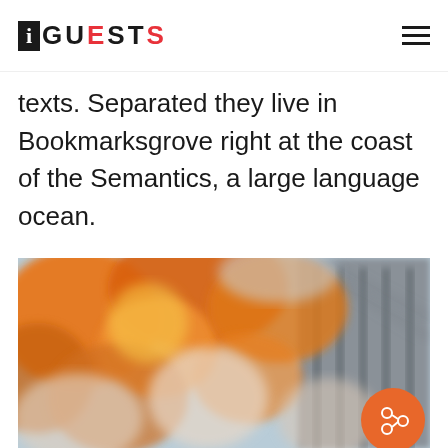iGUESTS
texts. Separated they live in Bookmarksgrove right at the coast of the Semantics, a large language ocean.
[Figure (photo): Blurred photo looking up at autumn orange and white flowers/foliage with a grey stone building facade visible in the upper right, with an orange share button overlay in the lower right.]